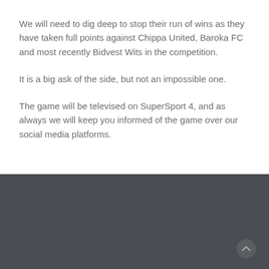We will need to dig deep to stop their run of wins as they have taken full points against Chippa United, Baroka FC and most recently Bidvest Wits in the competition.
It is a big ask of the side, but not an impossible one.
The game will be televised on SuperSport 4, and as always we will keep you informed of the game over our social media platforms.
[Figure (other): Dark footer area with a back-to-top arrow button in the bottom right corner]